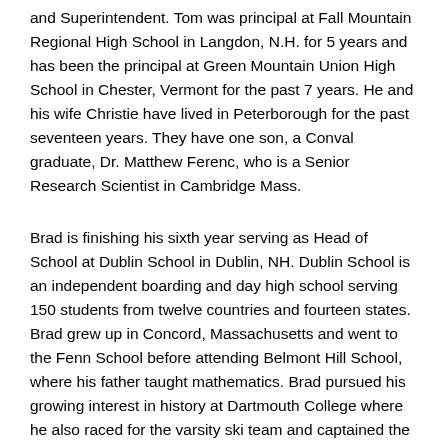and Superintendent. Tom was principal at Fall Mountain Regional High School in Langdon, N.H. for 5 years and has been the principal at Green Mountain Union High School in Chester, Vermont for the past 7 years. He and his wife Christie have lived in Peterborough for the past seventeen years. They have one son, a Conval graduate, Dr. Matthew Ferenc, who is a Senior Research Scientist in Cambridge Mass.
Brad is finishing his sixth year serving as Head of School at Dublin School in Dublin, NH. Dublin School is an independent boarding and day high school serving 150 students from twelve countries and fourteen states. Brad grew up in Concord, Massachusetts and went to the Fenn School before attending Belmont Hill School, where his father taught mathematics. Brad pursued his growing interest in history at Dartmouth College where he also raced for the varsity ski team and captained the heavyweight crew team. From Dartmouth he travelled to the St. Andrew's School in Delaware where he chaired the history department, served as Dean of Students, coached soccer and rowing, and lived in the dormitory for fifteen years. Brad met his wife Lisa at St. Andrew's, where she taught Spanish and French. After St. Andrew's Brad served as assistant principal at Aspen High School in